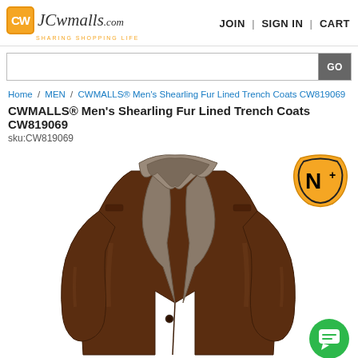CW JCwmalls.com SHARING SHOPPING LIFE | JOIN | SIGN IN | CART
Search bar with GO button
Home / MEN / CWMALLS® Men's Shearling Fur Lined Trench Coats CW819069
CWMALLS® Men's Shearling Fur Lined Trench Coats CW819069
sku:CW819069
[Figure (photo): Brown shearling fur lined leather trench coat displayed on white background, showing fur collar and full front view]
[Figure (logo): N+ badge icon in gold/yellow color with black N+ text]
[Figure (illustration): Green circular chat button with speech bubble icon]